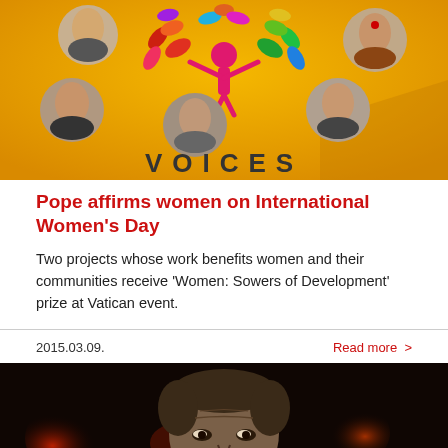[Figure (photo): Orange/yellow banner with colorful tree logo made of leaves, a pink female figure at center, surrounded by portrait photos of women. Text 'VOICES' at bottom of banner.]
Pope affirms women on International Women's Day
Two projects whose work benefits women and their communities receive 'Women: Sowers of Development' prize at Vatican event.
2015.03.09.
Read more >
[Figure (photo): Dark photo of a middle-aged man's face against blurred red/orange bokeh background.]